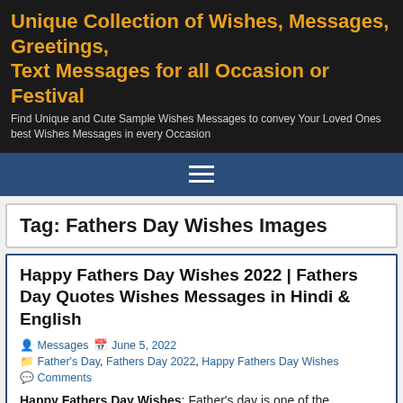Unique Collection of Wishes, Messages, Greetings, Text Messages for all Occasion or Festival
Find Unique and Cute Sample Wishes Messages to convey Your Loved Ones best Wishes Messages in every Occasion
Tag: Fathers Day Wishes Images
Happy Fathers Day Wishes 2022 | Fathers Day Quotes Wishes Messages in Hindi & English
Messages  June 5, 2022
Father's Day, Fathers Day 2022, Happy Fathers Day Wishes
Comments
Happy Fathers Day Wishes: Father's day is one of the wonderful opportunities to tell your dad or to make your dad how much you appreciate him and how much you need him always. On this special day, you have to wish your father with some creative ideas and you have to make very special on this